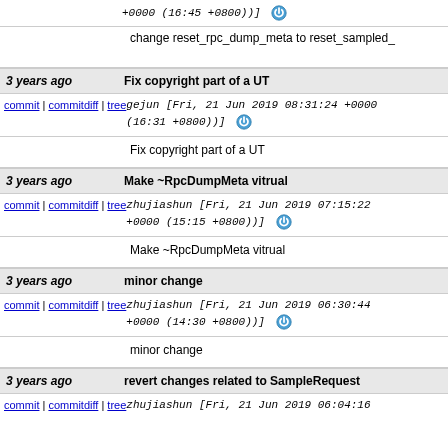+0000 (16:45 +0800))] [icon] change reset_rpc_dump_meta to reset_sampled_
3 years ago | Fix copyright part of a UT
commit | commitdiff | tree gejun [Fri, 21 Jun 2019 08:31:24 +0000 (16:31 +0800))] [icon]
Fix copyright part of a UT
3 years ago | Make ~RpcDumpMeta vitrual
commit | commitdiff | tree zhujiashun [Fri, 21 Jun 2019 07:15:22 +0000 (15:15 +0800))] [icon]
Make ~RpcDumpMeta vitrual
3 years ago | minor change
commit | commitdiff | tree zhujiashun [Fri, 21 Jun 2019 06:30:44 +0000 (14:30 +0800))] [icon]
minor change
3 years ago | revert changes related to SampleRequest
commit | commitdiff | tree zhujiashun [Fri, 21 Jun 2019 06:04:16 ...